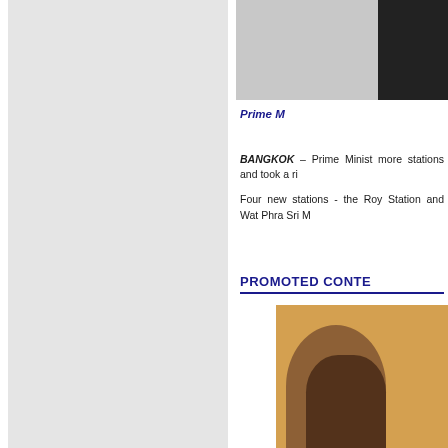[Figure (photo): Top portion of a photo showing a dark figure against gray background, partially visible on the right side]
Prime M
BANGKOK – Prime Minist more stations and took a ri
Four new stations - the Ro Station and Wat Phra Sri M
PROMOTED CONTE
[Figure (photo): Photo showing people, appears to be a person hugging another, with yellow/orange background foliage]